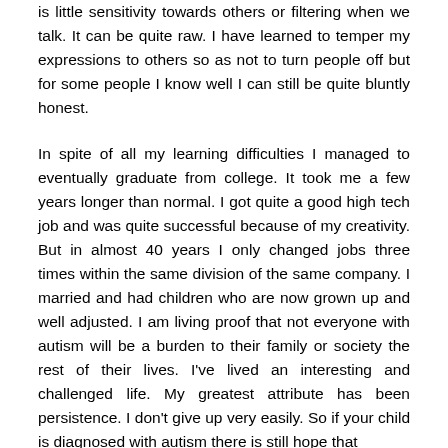is little sensitivity towards others or filtering when we talk. It can be quite raw. I have learned to temper my expressions to others so as not to turn people off but for some people I know well I can still be quite bluntly honest.
In spite of all my learning difficulties I managed to eventually graduate from college. It took me a few years longer than normal. I got quite a good high tech job and was quite successful because of my creativity. But in almost 40 years I only changed jobs three times within the same division of the same company. I married and had children who are now grown up and well adjusted. I am living proof that not everyone with autism will be a burden to their family or society the rest of their lives. I've lived an interesting and challenged life. My greatest attribute has been persistence. I don't give up very easily. So if your child is diagnosed with autism there is still hope that